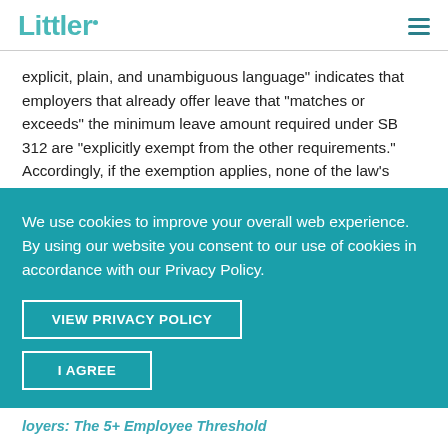Littler
explicit, plain, and unambiguous language" indicates that employers that already offer leave that "matches or exceeds" the minimum leave amount required under SB 312 are "explicitly exempt from the other requirements." Accordingly, if the exemption applies, none of the law's requirements apply (e.g., waiting periods, recordkeeping, etc.). However, the Labor Commissioner recommends that employers adopt qualifying
We use cookies to improve your overall web experience. By using our website you consent to our use of cookies in accordance with our Privacy Policy.
VIEW PRIVACY POLICY
I AGREE
loyers: The 5+ Employee Threshold